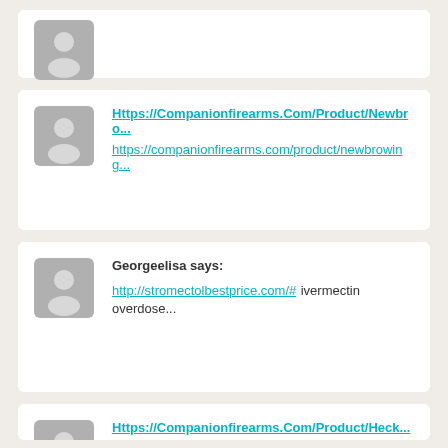Https://Companionfirearms.Com/Product/Newbro... https://companionfirearms.com/product/newbrowing...
Georgeelisa says: http://stromectolbestprice.com/# ivermectin overdose...
Https://Companionfirearms.Com/Product/Heck...